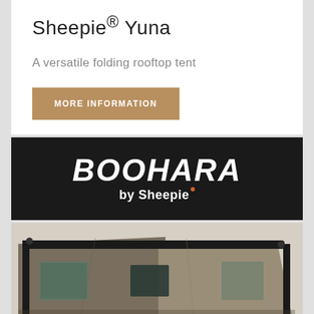Sheepie® Yuna
A versatile folding rooftop tent
MORE INFORMATION
[Figure (logo): BOOHARA by Sheepie logo on dark background — white bold italic text 'BOOHARA' above 'by Sheepie' with orange dot superscript]
[Figure (photo): Photograph of a folding rooftop tent (Boohara by Sheepie) showing olive/tan fabric panels with windows and black frame structure]